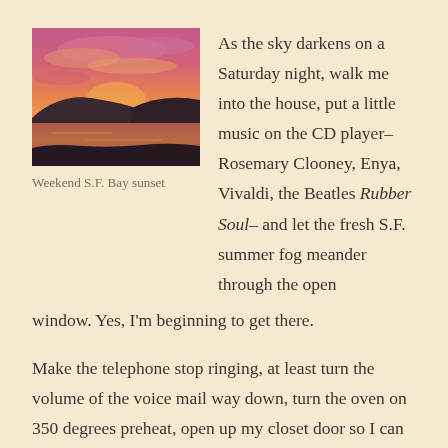[Figure (photo): A sunset photograph over a body of water, likely San Francisco Bay, with vivid pink, orange, and purple sky and silhouetted hills in the background.]
Weekend S.F. Bay sunset
As the sky darkens on a Saturday night, walk me into the house, put a little music on the CD player– Rosemary Clooney, Enya, Vivaldi, the Beatles Rubber Soul– and let the fresh S.F. summer fog meander through the open window. Yes, I'm beginning to get there.
Make the telephone stop ringing, at least turn the volume of the voice mail way down, turn the oven on 350 degrees preheat, open up my closet door so I can change to my well-worn black leggings and soft cotton lavender top. Help me find my rumpled gray socks, and lead me toward the kitchen. Yes, I'm getting there